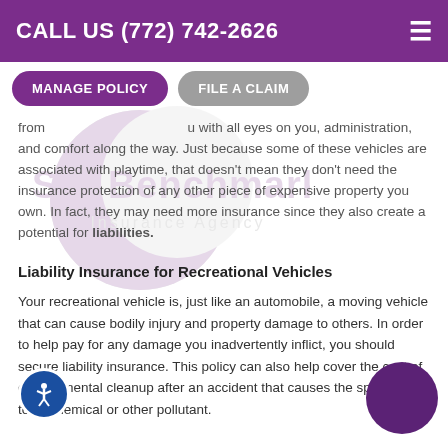CALL US (772) 742-2626
MANAGE POLICY
FILE A CLAIM
[Figure (logo): S E Benchmark Insurance Agency watermark logo with crescent moon graphic]
from ... with all eyes on you, administration, and comfort along the way. Just because some of these vehicles are associated with playtime, that doesn't mean they don't need the insurance protection of any other piece of expensive property you own. In fact, they may need more insurance since they also create a potential for liabilities.
Liability Insurance for Recreational Vehicles
Your recreational vehicle is, just like an automobile, a moving vehicle that can cause bodily injury and property damage to others. In order to help pay for any damage you inadvertently inflict, you should secure liability insurance. This policy can also help cover the cost of environmental cleanup after an accident that causes the spillage of a toxic chemical or other pollutant.